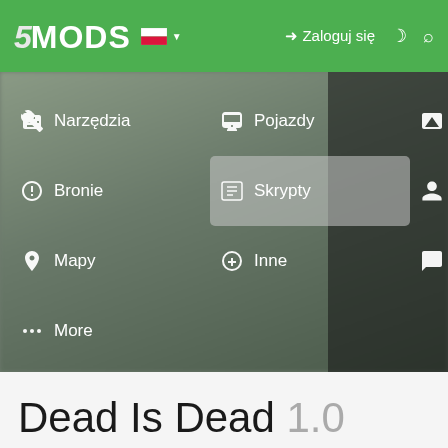[Figure (screenshot): 5MODS website navigation screenshot showing green header with logo, Polish flag, login button, and a dropdown navigation menu with items: Narzędzia, Pojazdy, Malowania, Bronie, Skrypty (highlighted), Gracz, Mapy, Inne, Forum, More. Background shows a blurred person at a desk.]
Dead Is Dead 1.0